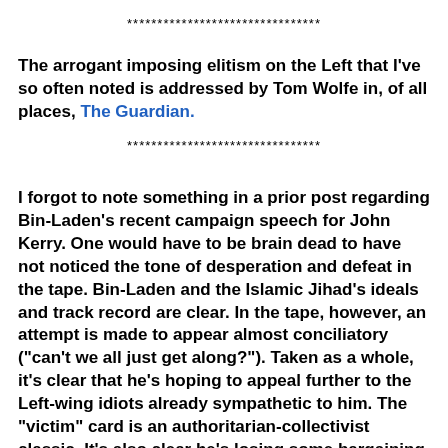********************************
The arrogant imposing elitism on the Left that I've so often noted is addressed by Tom Wolfe in, of all places, The Guardian.
********************************
I forgot to note something in a prior post regarding Bin-Laden's recent campaign speech for John Kerry. One would have to be brain dead to have not noticed the tone of desperation and defeat in the tape. Bin-Laden and the Islamic Jihad's ideals and track record are clear. In the tape, however, an attempt is made to appear almost conciliatory ("can't we all just get along?"). Taken as a whole, it's clear that he's hoping to appeal further to the Left-wing idiots already sympathetic to him. The "victim" card is an authoritarian-collectivist classic. It's also clear he's losing some bargaining